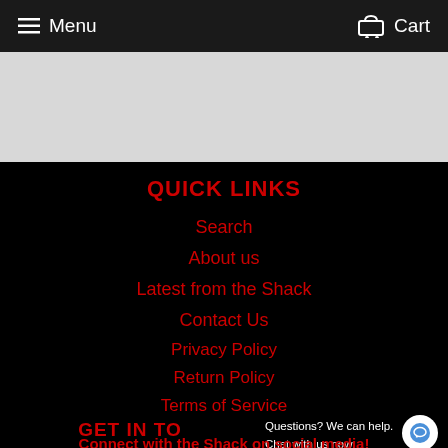Menu   Cart
[Figure (screenshot): White/grey content area placeholder]
QUICK LINKS
Search
About us
Latest from the Shack
Contact Us
Privacy Policy
Return Policy
Terms of Service
GET IN TO
Questions? We can help. Chat with us now.
Connect with the Shack on social media!